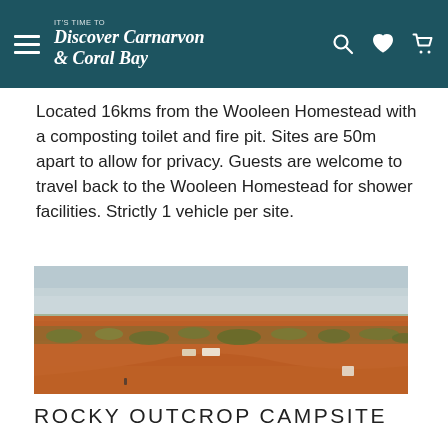IT'S TIME TO Discover Carnarvon & Coral Bay
Located 16kms from the Wooleen Homestead with a composting toilet and fire pit. Sites are 50m apart to allow for privacy. Guests are welcome to travel back to the Wooleen Homestead for shower facilities. Strictly 1 vehicle per site.
[Figure (photo): Aerial view of a remote outback campsite with red dirt, sparse scrubby vegetation, and two vehicles parked near the camp. Wide flat landscape under an overcast sky.]
ROCKY OUTCROP CAMPSITE